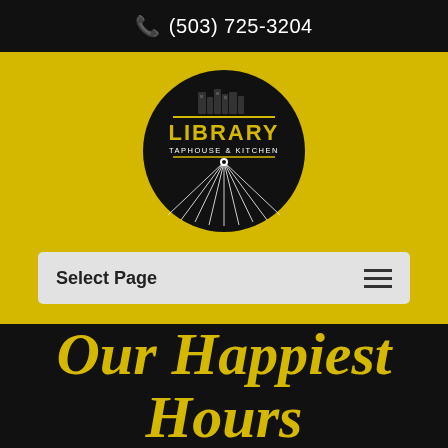(503) 725-3204
[Figure (logo): Library Taphouse & Kitchen circular logo with city skyline and radiating lines on black background]
Select Page
Our Happiest Hours